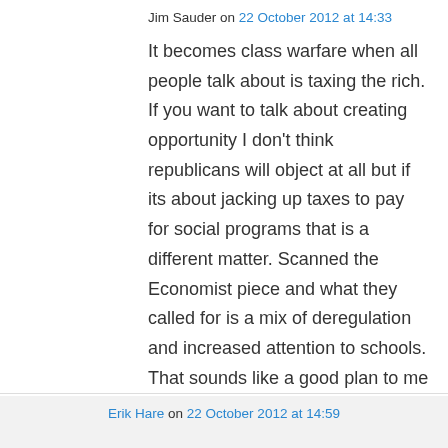Jim Sauder on 22 October 2012 at 14:33
It becomes class warfare when all people talk about is taxing the rich. If you want to talk about creating opportunity I don't think republicans will object at all but if its about jacking up taxes to pay for social programs that is a different matter. Scanned the Economist piece and what they called for is a mix of deregulation and increased attention to schools. That sounds like a good plan to me if inequality is a problem. I think you poo-poo'd their recommendations too easy.
↳ Reply
Erik Hare on 22 October 2012 at 14:59